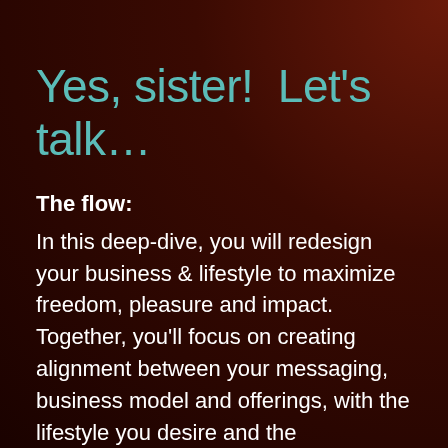Yes, sister!  Let's talk…
The flow:
In this deep-dive, you will redesign your business & lifestyle to maximize freedom, pleasure and impact. Together, you'll focus on creating alignment between your messaging, business model and offerings, with the lifestyle you desire and the contribution you want to make.